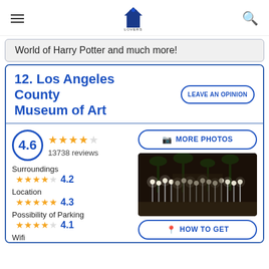FOR LA LOVERS (logo with hamburger menu and search icon)
World of Harry Potter and much more!
12. Los Angeles County Museum of Art
LEAVE AN OPINION
4.6 — 13738 reviews
Surroundings — 4.2
Location — 4.3
Possibility of Parking — 4.1
Wifi
[Figure (photo): Night photo of illuminated lamp post art installation at LACMA (Urban Light by Chris Burden) with palm trees in background]
MORE PHOTOS
HOW TO GET